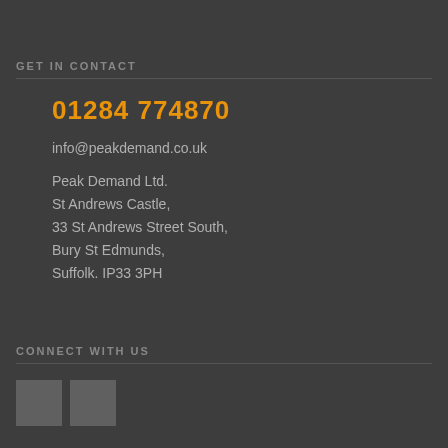GET IN CONTACT
01284 774870
info@peakdemand.co.uk
Peak Demand Ltd.
St Andrews Castle,
33 St Andrews Street South,
Bury St Edmunds,
Suffolk. IP33 3PH
CONNECT WITH US
[Figure (other): Two social media icon squares (LinkedIn and Twitter/X)]